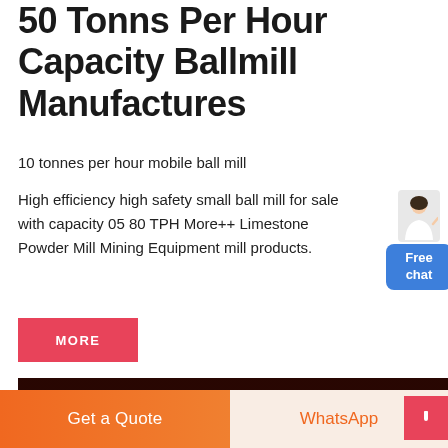50 Tonns Per Hour Capacity Ballmill Manufactures
10 tonnes per hour mobile ball mill
High efficiency high safety small ball mill for sale with capacity 05 80 TPH More++ Limestone Powder Mill Mining Equipment mill products.
[Figure (photo): Interior photograph of a ball mill showing orange-red lit cylindrical grinding chamber with lifting liners and grinding media visible]
Get a Quote
WhatsApp